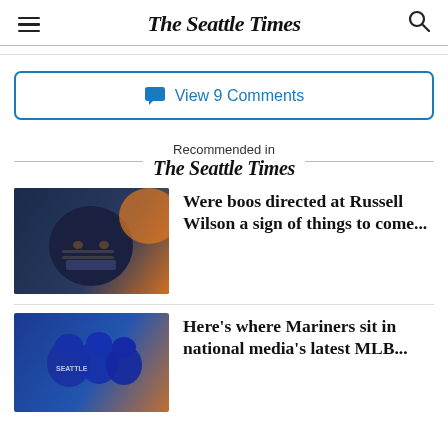The Seattle Times
View 9 Comments
Recommended in The Seattle Times
[Figure (photo): Football player in dark blue and orange helmet, close-up portrait]
Were boos directed at Russell Wilson a sign of things to come...
[Figure (photo): Baseball players in blue Seattle Mariners uniforms huddled together]
Here's where Mariners sit in national media's latest MLB...